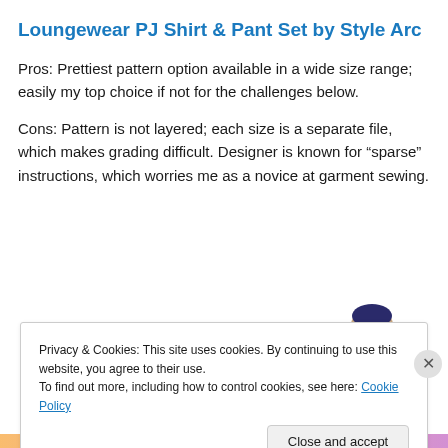Loungewear PJ Shirt & Pant Set by Style Arc
Pros: Prettiest pattern option available in a wide size range; easily my top choice if not for the challenges below.
Cons: Pattern is not layered; each size is a separate file, which makes grading difficult. Designer is known for “sparse” instructions, which worries me as a novice at garment sewing.
[Figure (illustration): Cartoon avatar of a person with a sleep mask, partially visible behind cookie consent overlay. Green 'DOWNLOAD' badge in top right corner.]
Privacy & Cookies: This site uses cookies. By continuing to use this website, you agree to their use.
To find out more, including how to control cookies, see here: Cookie Policy
Close and accept